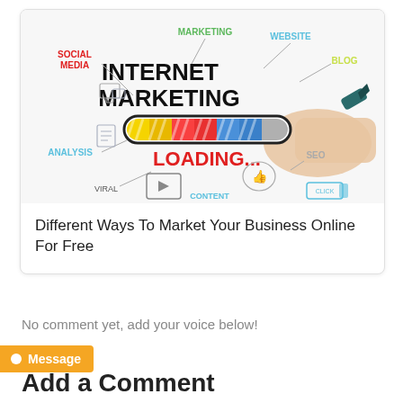[Figure (illustration): Internet Marketing infographic showing a hand drawing a loading progress bar, with labels: Social Media, Marketing, Website, Blog, Analysis, Viral, Content, SEO, Loading...]
Different Ways To Market Your Business Online For Free
No comment yet, add your voice below!
Add a Comment
Message